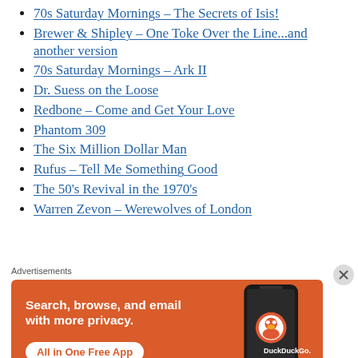70s Saturday Mornings – The Secrets of Isis!
Brewer & Shipley – One Toke Over the Line...and another version
70s Saturday Mornings – Ark II
Dr. Suess on the Loose
Redbone – Come and Get Your Love
Phantom 309
The Six Million Dollar Man
Rufus – Tell Me Something Good
The 50's Revival in the 1970's
Warren Zevon – Werewolves of London
Advertisements
[Figure (infographic): DuckDuckGo advertisement: orange background with phone graphic. Text reads 'Search, browse, and email with more privacy. All in One Free App'. DuckDuckGo logo shown.]